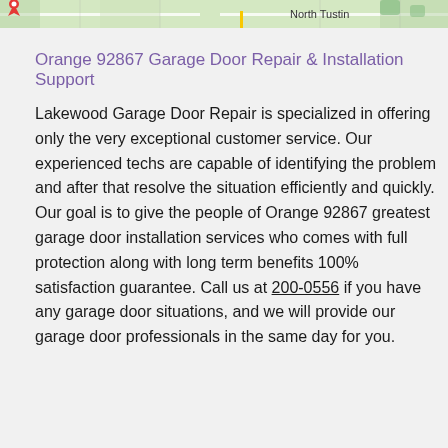[Figure (map): Partial map screenshot showing North Tustin area with street grid and map marker]
Orange 92867 Garage Door Repair & Installation Support
Lakewood Garage Door Repair is specialized in offering only the very exceptional customer service. Our experienced techs are capable of identifying the problem and after that resolve the situation efficiently and quickly. Our goal is to give the people of Orange 92867 greatest garage door installation services who comes with full protection along with long term benefits 100% satisfaction guarantee. Call us at (657) 200-0556 if you have any garage door situations, and we will provide our garage door professionals in the same day for you.